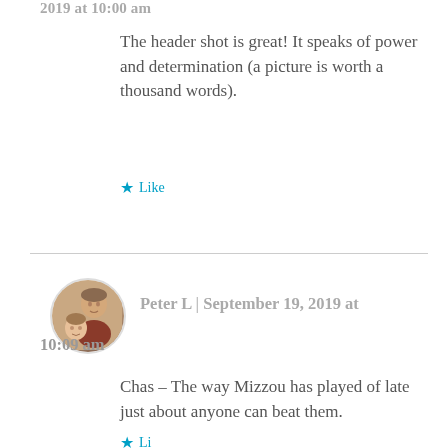2019 at 10:00 am
The header shot is great! It speaks of power and determination (a picture is worth a thousand words).
★ Like
[Figure (photo): Round avatar photo of a person (older man with child)]
Peter L | September 19, 2019 at 10:09 am
Chas – The way Mizzou has played of late just about anyone can beat them.
★ Li